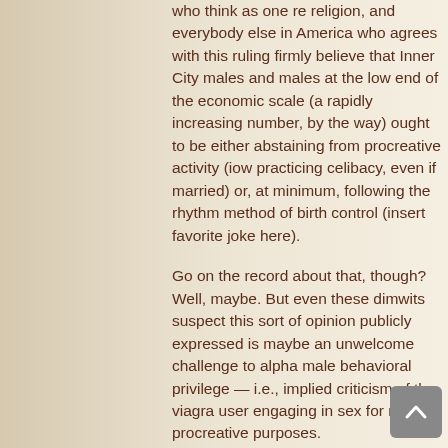who think as one re religion, and everybody else in America who agrees with this ruling firmly believe that Inner City males and males at the low end of the economic scale (a rapidly increasing number, by the way) ought to be either abstaining from procreative activity (iow practicing celibacy, even if married) or, at minimum, following the rhythm method of birth control (insert favorite joke here).
Go on the record about that, though? Well, maybe. But even these dimwits suspect this sort of opinion publicly expressed is maybe an unwelcome challenge to alpha male behavioral privilege — i.e., implied criticism of the viagra user engaging in sex for non-procreative purposes.
Any male screwing anytime just for his